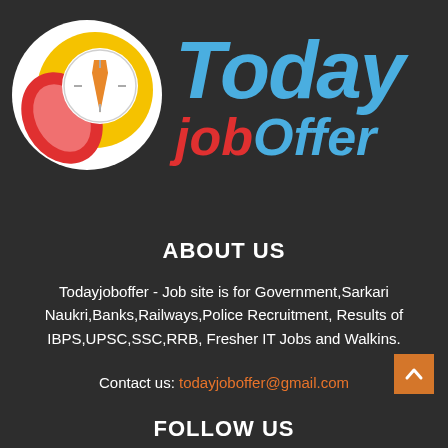[Figure (logo): Today Job Offer logo with phone/tie icon and colorful text]
ABOUT US
Todayjoboffer - Job site is for Government,Sarkari Naukri,Banks,Railways,Police Recruitment, Results of IBPS,UPSC,SSC,RRB, Fresher IT Jobs and Walkins.
Contact us: todayjoboffer@gmail.com
FOLLOW US